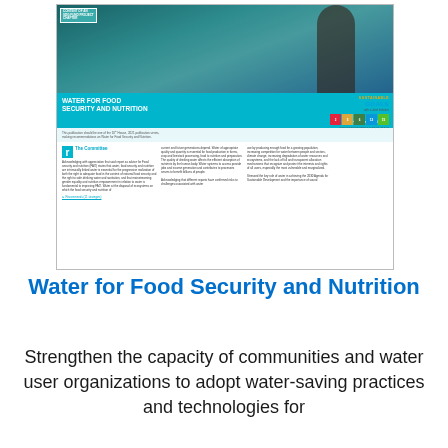[Figure (other): Thumbnail of a policy document cover titled 'Water for Food Security and Nutrition' with a photo of a person in a field, teal/blue design, SDG icons, committee text, and policy recommendations label.]
Water for Food Security and Nutrition
Strengthen the capacity of communities and water user organizations to adopt water-saving practices and technologies for